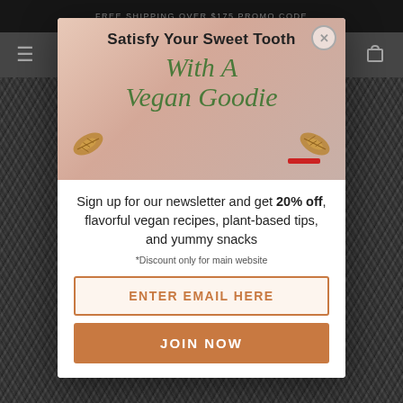FREE SHIPPING OVER $175 PROMO CODE
[Figure (screenshot): Website navigation bar with hamburger menu on left and shopping cart icon on right]
Satisfy Your Sweet Tooth
With A Vegan Goodie
Sign up for our newsletter and get 20% off, flavorful vegan recipes, plant-based tips, and yummy snacks
*Discount only for main website
ENTER EMAIL HERE
JOIN NOW